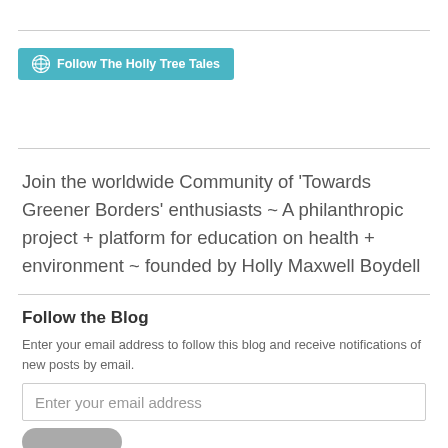[Figure (other): WordPress 'Follow The Holly Tree Tales' button in teal/cyan color with WordPress logo icon]
Join the worldwide Community of 'Towards Greener Borders' enthusiasts ~ A philanthropic project + platform for education on health + environment ~ founded by Holly Maxwell Boydell
Follow the Blog
Enter your email address to follow this blog and receive notifications of new posts by email.
Enter your email address